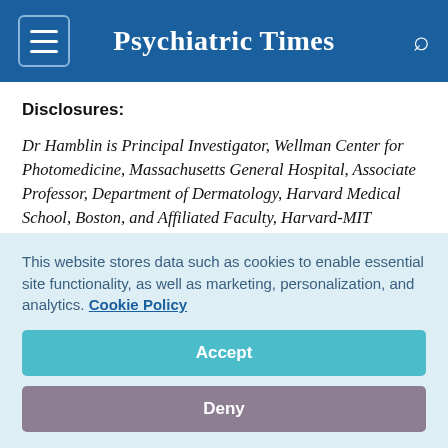Psychiatric Times
Disclosures:
Dr Hamblin is Principal Investigator, Wellman Center for Photomedicine, Massachusetts General Hospital, Associate Professor, Department of Dermatology, Harvard Medical School, Boston, and Affiliated Faculty, Harvard-MIT Division of Health Sciences and Technology, Cambridge, MA. He reports that he receives financial
This website stores data such as cookies to enable essential site functionality, as well as marketing, personalization, and analytics. Cookie Policy
Accept
Deny